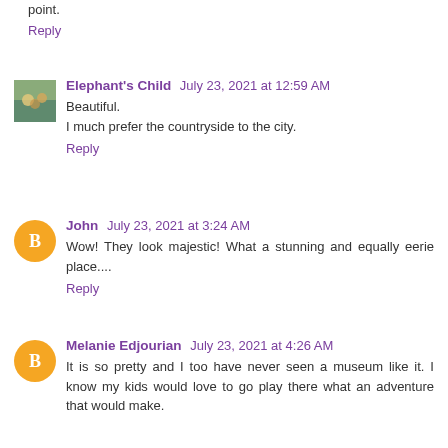point.
Reply
Elephant's Child  July 23, 2021 at 12:59 AM
Beautiful.
I much prefer the countryside to the city.
Reply
John  July 23, 2021 at 3:24 AM
Wow! They look majestic! What a stunning and equally eerie place....
Reply
Melanie Edjourian  July 23, 2021 at 4:26 AM
It is so pretty and I too have never seen a museum like it. I know my kids would love to go play there what an adventure that would make.